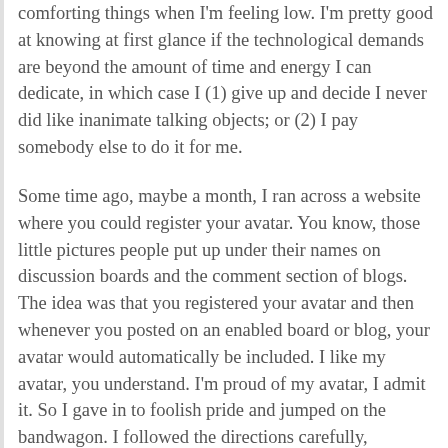comforting things when I'm feeling low. I'm pretty good at knowing at first glance if the technological demands are beyond the amount of time and energy I can dedicate, in which case I (1) give up and decide I never did like inanimate talking objects; or (2) I pay somebody else to do it for me.
Some time ago, maybe a month, I ran across a website where you could register your avatar. You know, those little pictures people put up under their names on discussion boards and the comment section of blogs. The idea was that you registered your avatar and then whenever you posted on an enabled board or blog, your avatar would automatically be included. I like my avatar, you understand. I'm proud of my avatar, I admit it. So I gave in to foolish pride and jumped on the bandwagon. I followed the directions carefully, uploaded the avatar, made the changes I needed to make to various templates… and it didn't work. So I futzed with it for maybe an hour total, and then gave up. As I said, I